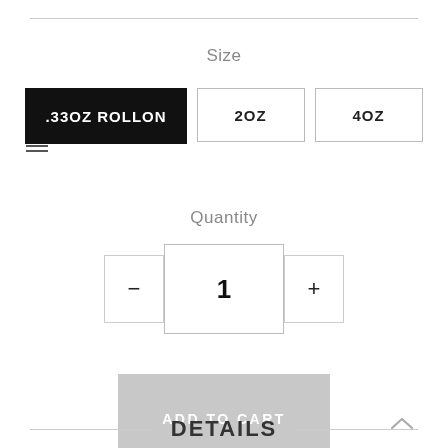Size
.33OZ ROLLON (selected)
2OZ
4OZ
Quantity
1
ADD TO CART
[Figure (infographic): Social share icons: Facebook, Twitter, Pinterest in light gray]
DETAILS